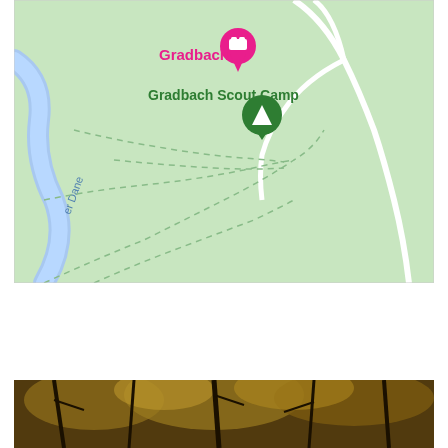[Figure (map): Google Maps screenshot showing Gradbach area with a pink location pin labeled 'Gradbach' (with hotel/accommodation icon), a green camping/tent marker labeled 'Gradbach Scout Camp', a river labeled 'er Dane' (River Dane) shown in blue winding on the left side, white roads/paths, dashed green footpaths/trails on a light green background representing countryside/fields.]
[Figure (photo): Partial photograph visible at the bottom of the page showing woodland/forest scene with autumn trees, brown and golden foliage, dark tree branches visible.]